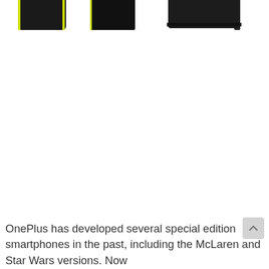[Figure (photo): Partial top-cropped image of OnePlus special edition smartphones, showing dark-colored phones with yellow/green accents, two phones visible on the left side and one on the right side.]
OnePlus has developed several special edition smartphones in the past, including the McLaren and Star Wars versions. Now